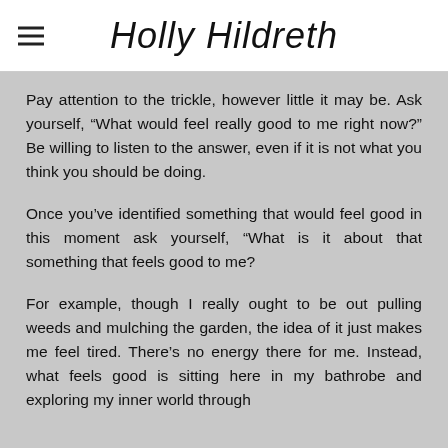Holly Hildreth
Pay attention to the trickle, however little it may be. Ask yourself, “What would feel really good to me right now?” Be willing to listen to the answer, even if it is not what you think you should be doing.
Once you’ve identified something that would feel good in this moment ask yourself, “What is it about that something that feels good to me?
For example, though I really ought to be out pulling weeds and mulching the garden, the idea of it just makes me feel tired. There’s no energy there for me. Instead, what feels good is sitting here in my bathrobe and exploring my inner world through